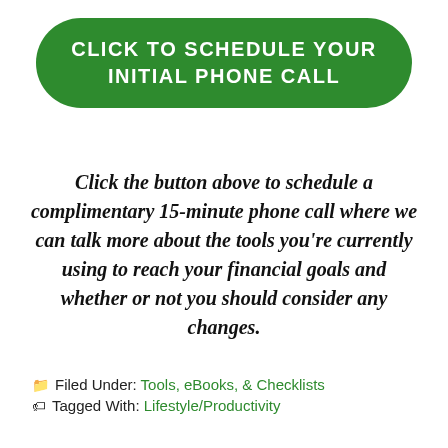[Figure (other): Green rounded button with white uppercase text: CLICK TO SCHEDULE YOUR INITIAL PHONE CALL]
Click the button above to schedule a complimentary 15-minute phone call where we can talk more about the tools you're currently using to reach your financial goals and whether or not you should consider any changes.
Filed Under: Tools, eBooks, & Checklists
Tagged With: Lifestyle/Productivity